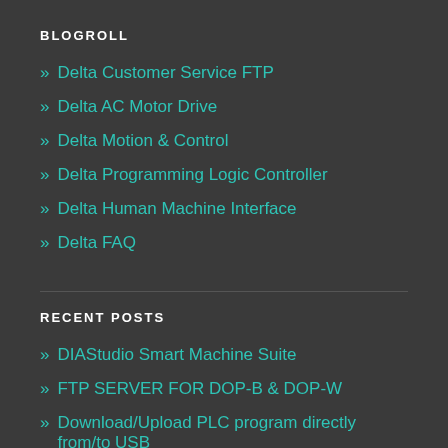BLOGROLL
» Delta Customer Service FTP
» Delta AC Motor Drive
» Delta Motion & Control
» Delta Programming Logic Controller
» Delta Human Machine Interface
» Delta FAQ
RECENT POSTS
» DIAStudio Smart Machine Suite
» FTP SERVER FOR DOP-B & DOP-W
» Download/Upload PLC program directly from/to USB through HMI